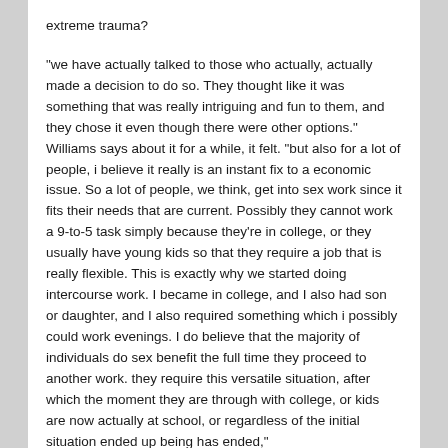extreme trauma?
“we have actually talked to those who actually, actually made a decision to do so. They thought like it was something that was really intriguing and fun to them, and they chose it even though there were other options.” Williams says about it for a while, it felt. “but also for a lot of people, i believe it really is an instant fix to a economic issue. So a lot of people, we think, get into sex work since it fits their needs that are current. Possibly they cannot work a 9-to-5 task simply because they’re in college, or they usually have young kids so that they require a job that is really flexible. This is exactly why we started doing intercourse work. I became in college, and I also had son or daughter, and I also required something which i possibly could work evenings. I do believe that the majority of individuals do sex benefit the full time they proceed to another work. they require this versatile situation, after which the moment they are through with college, or kids are now actually at school, or regardless of the initial situation ended up being has ended,”